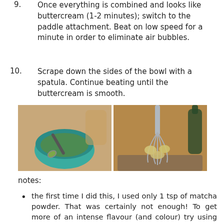9. Once everything is combined and looks like buttercream (1-2 minutes); switch to the paddle attachment. Beat on low speed for a minute in order to eliminate air bubbles.
10. Scrape down the sides of the bowl with a spatula. Continue beating until the buttercream is smooth.
[Figure (photo): Two side-by-side photos: left shows a teal bowl with a spoon containing a green matcha mixture; right shows a wire whisk attachment of a stand mixer with yellow-green buttercream clinging to it, with a dark bottle in the background.]
notes:
the first time I did this, I used only 1 tsp of matcha powder. That was certainly not enough! To get more of an intense flavour (and colour) try using at least 1 tbsp.